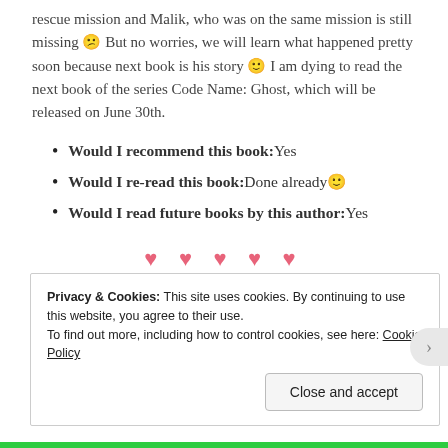rescue mission and Malik, who was on the same mission is still missing 😕 But no worries, we will learn what happened pretty soon because next book is his story 🙂 I am dying to read the next book of the series Code Name: Ghost, which will be released on June 30th.
Would I recommend this book: Yes
Would I re-read this book: Done already 🙂
Would I read future books by this author: Yes
[Figure (other): Five pink heart symbols used as a decorative rating divider]
e-ARC kindly provided by the author in exchange for an
Privacy & Cookies: This site uses cookies. By continuing to use this website, you agree to their use. To find out more, including how to control cookies, see here: Cookie Policy
Close and accept